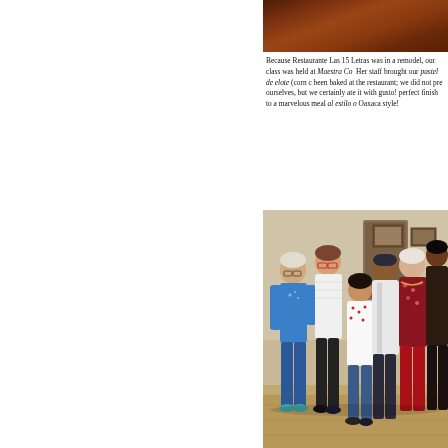[Figure (photo): Partial view of a brown/reddish surface, top portion of a photo cropped at top of page]
Because Restaurante Las 15 Letras was in a remodel, our class was held at Maestra Co. Her staff brought our pastel de elote (corn c... been baked at the restaurant; we did not pre... ourselves, but we certainly ate it with gusto! perfect finish to a marvelous meal al estilo o... Oaxaca style!
[Figure (photo): Group photo of approximately 6-7 people posing together indoors. People wearing various colored clothing including blue, white, red, and floral patterns.]